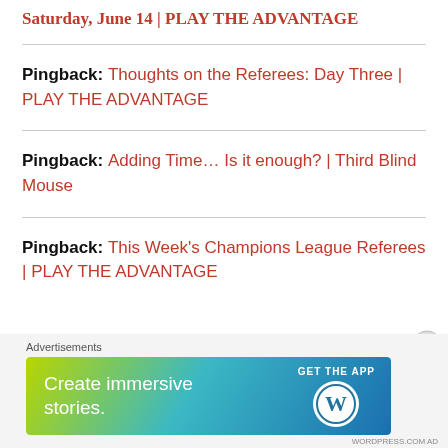Saturday, June 14 | PLAY THE ADVANTAGE
Pingback: Thoughts on the Referees: Day Three | PLAY THE ADVANTAGE
Pingback: Adding Time… Is it enough? | Third Blind Mouse
Pingback: This Week's Champions League Referees | PLAY THE ADVANTAGE
[Figure (screenshot): Advertisement banner: 'Create immersive stories. GET THE APP' with WordPress logo, gradient blue-green background]
Advertisements